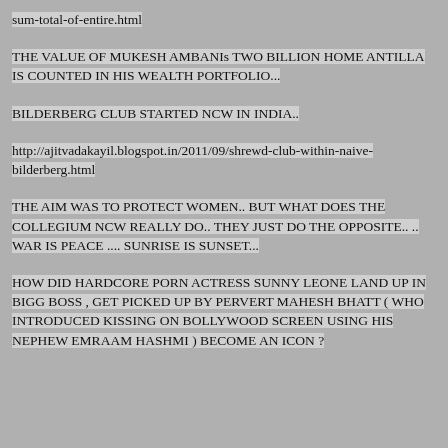sum-total-of-entire.html
THE VALUE OF MUKESH AMBANIs TWO BILLION HOME ANTILLA IS COUNTED IN HIS WEALTH PORTFOLIO...
BILDERBERG CLUB STARTED NCW IN INDIA..
http://ajitvadakayil.blogspot.in/2011/09/shrewd-club-within-naive-bilderberg.html
THE AIM WAS TO PROTECT WOMEN.. BUT WHAT DOES THE COLLEGIUM NCW REALLY DO.. THEY JUST DO THE OPPOSITE.. .. WAR IS PEACE .... SUNRISE IS SUNSET...
HOW DID HARDCORE PORN ACTRESS SUNNY LEONE LAND UP IN BIGG BOSS , GET PICKED UP BY PERVERT MAHESH BHATT ( WHO INTRODUCED KISSING ON BOLLYWOOD SCREEN USING HIS NEPHEW EMRAAM HASHMI ) BECOME AN ICON ?